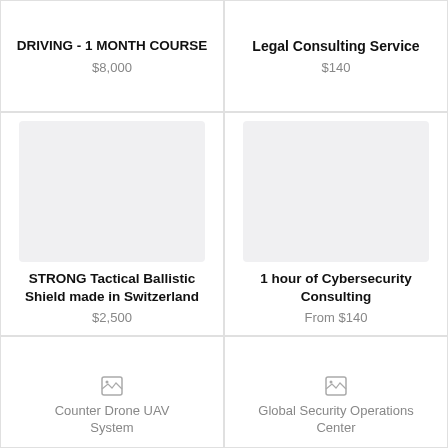DRIVING - 1 MONTH COURSE
$8,000
Legal Consulting Service
$140
[Figure (photo): Product image placeholder (light gray box) for STRONG Tactical Ballistic Shield made in Switzerland]
[Figure (photo): Product image placeholder (light gray box) for 1 hour of Cybersecurity Consulting]
STRONG Tactical Ballistic Shield made in Switzerland
$2,500
1 hour of Cybersecurity Consulting
From $140
[Figure (photo): Broken image icon for Counter Drone UAV System]
Counter Drone UAV System
[Figure (photo): Broken image icon for Global Security Operations Center]
Global Security Operations Center